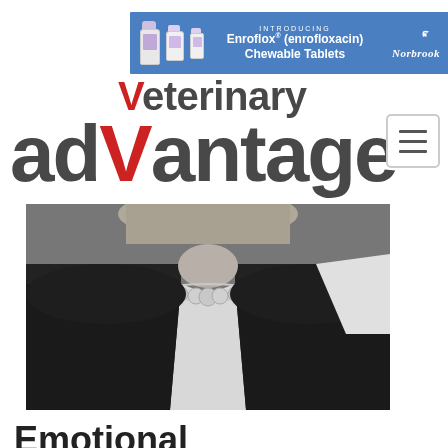[Figure (other): Norbrook advertisement banner for Enroflox (enrofloxacin) Chewable Tablets with product bottles and dog silhouette logo]
[Figure (logo): Veterinary Advantage magazine logo with red checkmark V in 'advantage' text]
[Figure (photo): Black and white photograph of a woman wearing a necklace and dark jacket]
Emotional Intelligence
COMMUNITY | June 2020